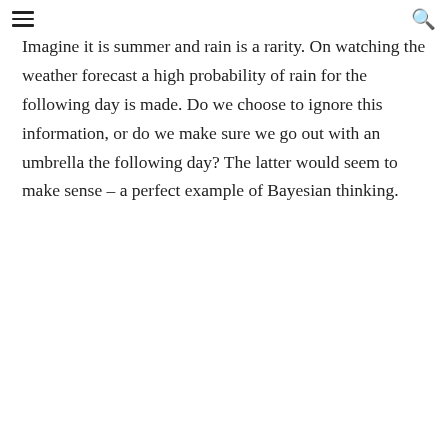≡  🔍
Imagine it is summer and rain is a rarity. On watching the weather forecast a high probability of rain for the following day is made. Do we choose to ignore this information, or do we make sure we go out with an umbrella the following day? The latter would seem to make sense – a perfect example of Bayesian thinking.